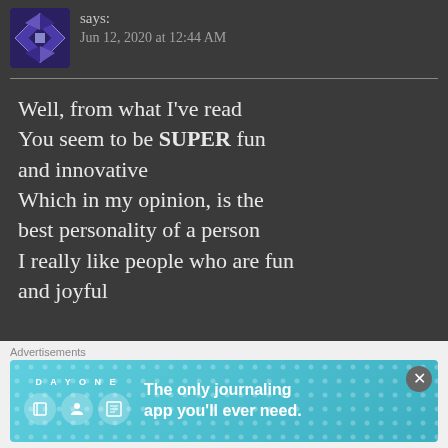[Figure (logo): Purple and white geometric diamond/cube logo avatar icon]
says:
Jun 12, 2020 at 12:44 AM
Well, from what I've read
You seem to be SUPER fun and innovative
Which in my opinion, is the best personality of a person
I really like people who are fun and joyful
★ Liked by 1 person
Advertisements
[Figure (screenshot): DAY ONE journaling app advertisement banner with teal/blue background and app icons, tagline: The only journaling app you'll ever need.]